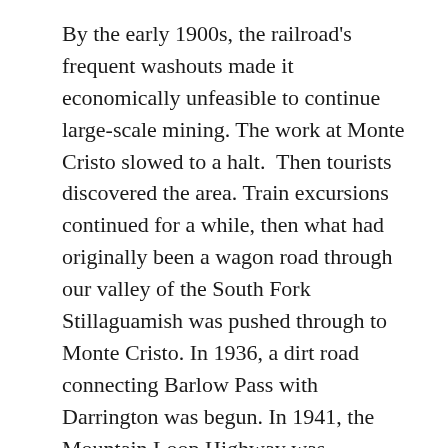By the early 1900s, the railroad's frequent washouts made it economically unfeasible to continue large-scale mining. The work at Monte Cristo slowed to a halt. Then tourists discovered the area. Train excursions continued for a while, then what had originally been a wagon road through our valley of the South Fork Stillaguamish was pushed through to Monte Cristo. In 1936, a dirt road connecting Barlow Pass with Darrington was begun. In 1941, the Mountain Loop Highway was completed. The whole area became a destination for outdoor recreationists, with hiking trails and campgrounds all along the way.